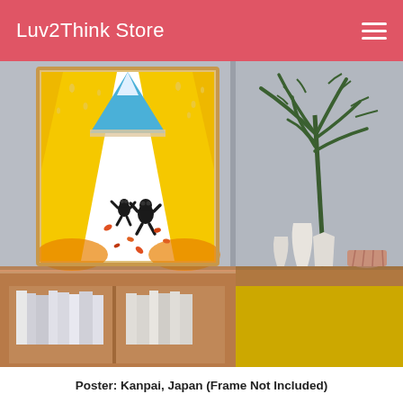Luv2Think Store
[Figure (photo): Product lifestyle photo showing a framed art poster mounted on a wall above a wooden shelf. The poster features a Japanese-themed design with yellow curtain-like shapes, a blue mountain (Mt. Fuji), and two cartoon bears (Formosan black bears) dancing. The room setting includes a palm plant in a white geometric vase, decorative white ceramic vases, and a yellow cabinet door. Books are visible on the lower shelf.]
Poster: Kanpai, Japan (Frame Not Included)